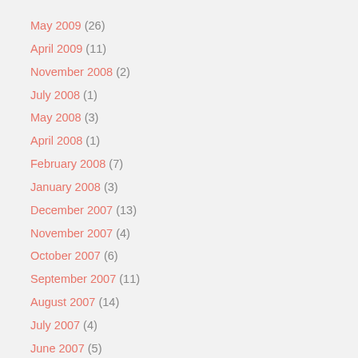May 2009 (26)
April 2009 (11)
November 2008 (2)
July 2008 (1)
May 2008 (3)
April 2008 (1)
February 2008 (7)
January 2008 (3)
December 2007 (13)
November 2007 (4)
October 2007 (6)
September 2007 (11)
August 2007 (14)
July 2007 (4)
June 2007 (5)
May 2007 (3)